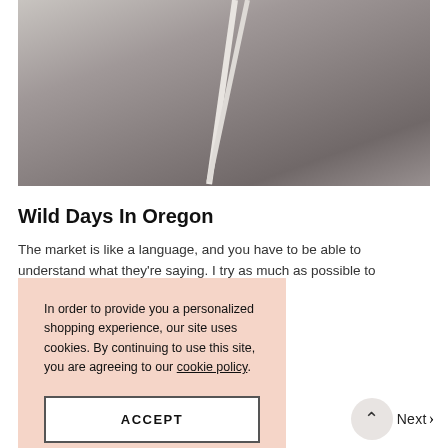[Figure (photo): Black and white photograph of a person (athlete), cropped from shoulders up, holding white straps or poles, wearing a striped top]
Wild Days In Oregon
The market is like a language, and you have to be able to understand what they're saying. I try as much as possible to
In order to provide you a personalized shopping experience, our site uses cookies. By continuing to use this site, you are agreeing to our cookie policy.
ACCEPT